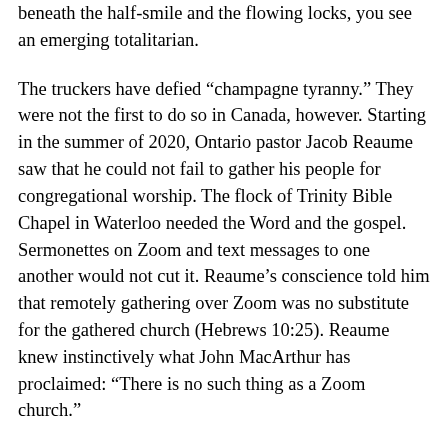beneath the half-smile and the flowing locks, you see an emerging totalitarian.
The truckers have defied “champagne tyranny.” They were not the first to do so in Canada, however. Starting in the summer of 2020, Ontario pastor Jacob Reaume saw that he could not fail to gather his people for congregational worship. The flock of Trinity Bible Chapel in Waterloo needed the Word and the gospel. Sermonettes on Zoom and text messages to one another would not cut it. Reaume’s conscience told him that remotely gathering over Zoom was no substitute for the gathered church (Hebrews 10:25). Reaume knew instinctively what John MacArthur has proclaimed: “There is no such thing as a Zoom church.”
It is no bad thing for sick folks to be able to stream sermons, of course. Further, Christians do have real disagreements in charity over policies regarding lockdowns and governmental decrees. There are gray areas and hard questions that pastors have faced the last two years, and we have sympathy for their efforts to try to hold churches together in divided times. But with that noted, Reaume and his peers saw something vital: Caesar does not rule the church’s worship. Christ does. To gather together weekly,